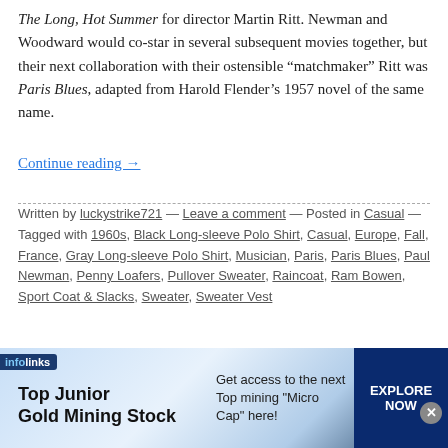The Long, Hot Summer for director Martin Ritt. Newman and Woodward would co-star in several subsequent movies together, but their next collaboration with their ostensible “matchmaker” Ritt was Paris Blues, adapted from Harold Flender’s 1957 novel of the same name.
Continue reading →
Written by luckystrike721 — Leave a comment — Posted in Casual — Tagged with 1960s, Black Long-sleeve Polo Shirt, Casual, Europe, Fall, France, Gray Long-sleeve Polo Shirt, Musician, Paris, Paris Blues, Paul Newman, Penny Loafers, Pullover Sweater, Raincoat, Ram Bowen, Sport Coat & Slacks, Sweater, Sweater Vest
DECEMBER 27, 2021
ne Dietrich in Morocco
[Figure (screenshot): Infolinks advertisement banner: Top Junior Gold Mining Stock. Get access to the next Top mining "Micro Cap" here! EXPLORE NOW]